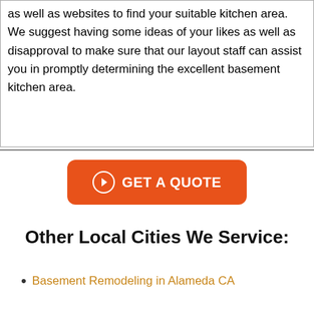as well as websites to find your suitable kitchen area. We suggest having some ideas of your likes as well as disapproval to make sure that our layout staff can assist you in promptly determining the excellent basement kitchen area.
[Figure (infographic): Orange rounded button with a circled right-arrow icon and text 'GET A QUOTE']
Other Local Cities We Service:
Basement Remodeling in Alameda CA